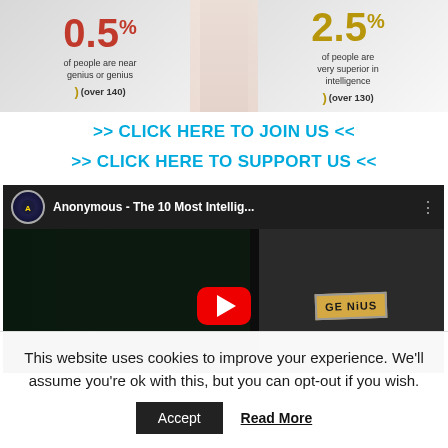[Figure (infographic): Infographic showing 0.5% of people are near genius or genius (over 140 IQ) on the left, and 2.5% of people are very superior in intelligence (over 130 IQ) on the right, with a hand/pencil graphic in the center.]
>> CLICK HERE TO JOIN US <<
>> CLICK HERE TO SUPPORT US <<
[Figure (screenshot): YouTube video thumbnail for 'Anonymous - The 10 Most Intellig...' showing a masked figure on the left and a person in a suit holding a 'GENIUS' sign on the right, with a red play button in the center. Watermark: ANONYMOUS-NEWS.COM]
This website uses cookies to improve your experience. We'll assume you're ok with this, but you can opt-out if you wish.
Accept
Read More